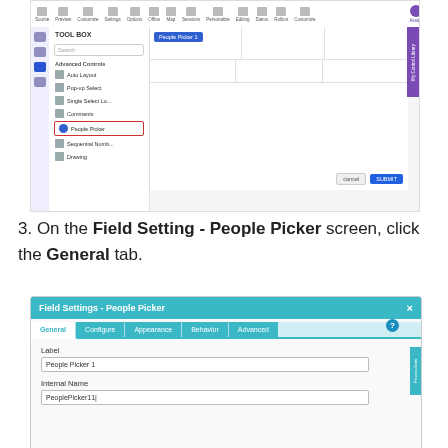[Figure (screenshot): Screenshot of a web form builder showing a toolbox panel on the left with items including Advanced Controls, Auto Layout, Pop-up Select, Single Select Lo..., Comments, People Picker (highlighted with red border), Sequential Numb..., Drawing. The main area shows a grid with a 'People Picker 1' blue tag in the first cell. Cancel and Submit buttons are at the bottom right.]
3. On the Field Setting - People Picker screen, click the General tab.
[Figure (screenshot): Screenshot of the Field Settings - People Picker dialog. It shows tabs: General (active/white), Configure, Appearance, Behavior, Advanced. Below the tabs are fields: Label with value 'People Picker 1', and Internal Name with value 'PeoplePicker11'. A Process Data tab is on the right side.]